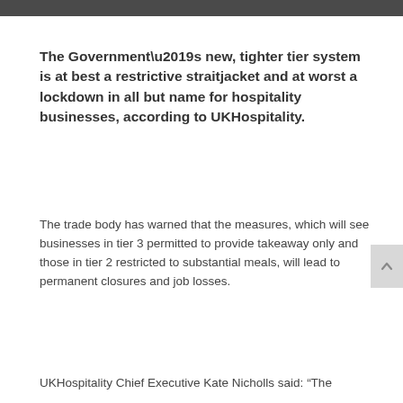The Government’s new, tighter tier system is at best a restrictive straitjacket and at worst a lockdown in all but name for hospitality businesses, according to UKHospitality.
The trade body has warned that the measures, which will see businesses in tier 3 permitted to provide takeaway only and those in tier 2 restricted to substantial meals, will lead to permanent closures and job losses.
UKHospitality Chief Executive Kate Nicholls said: “The